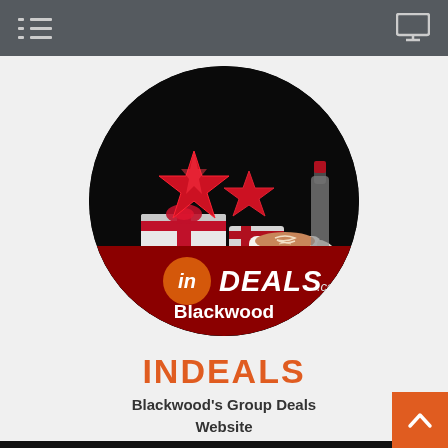Navigation bar with hamburger menu and monitor icon
[Figure (logo): inDEALS.com.au Blackwood circular logo with red stars, gift boxes, coffee cup on black background with dark red lower half showing brand name]
INDEALS
Blackwood's Group Deals Website